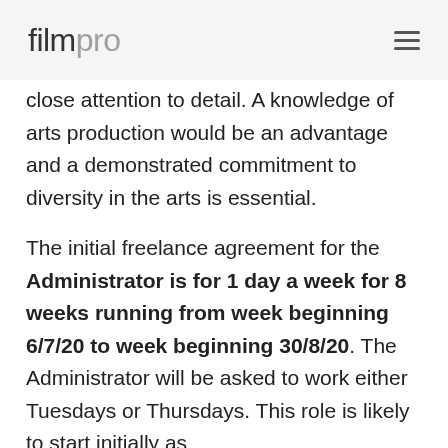filmpro
close attention to detail. A knowledge of arts production would be an advantage and a demonstrated commitment to diversity in the arts is essential.
The initial freelance agreement for the Administrator is for 1 day a week for 8 weeks running from week beginning 6/7/20 to week beginning 30/8/20. The Administrator will be asked to work either Tuesdays or Thursdays. This role is likely to start initially as